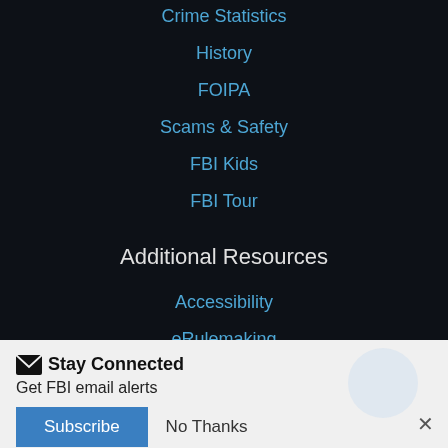Crime Statistics
History
FOIPA
Scams & Safety
FBI Kids
FBI Tour
Additional Resources
Accessibility
eRulemaking
Freedom of Information / Privacy Act
Stay Connected
Get FBI email alerts
Subscribe
No Thanks